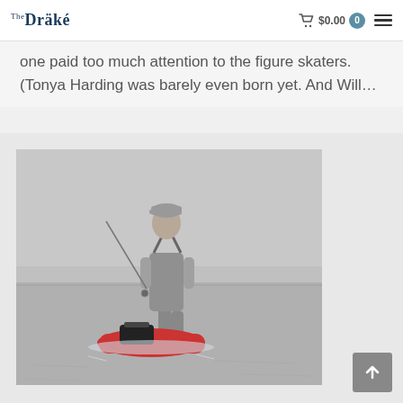The Drake — $0.00 0 (cart)
one paid too much attention to the figure skaters. (Tonya Harding was barely even born yet. And Will…
[Figure (photo): A person wearing waders and a cap walking through shallow water while pulling a red kayak loaded with gear. Overcast sky and flat water in the background.]